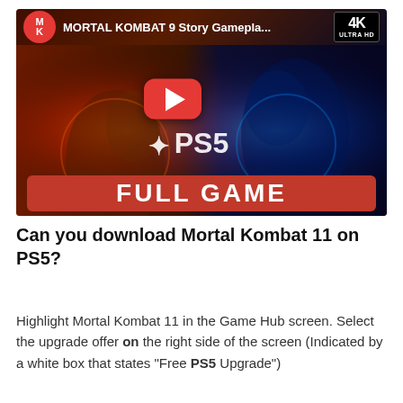[Figure (screenshot): YouTube video thumbnail for 'MORTAL KOMBAT 9 Story Gameplay...' showing Scorpion and Sub-Zero characters, PS5 logo, FULL GAME banner in red, YouTube play button, 4K Ultra HD badge, MK channel logo.]
Can you download Mortal Kombat 11 on PS5?
Highlight Mortal Kombat 11 in the Game Hub screen. Select the upgrade offer on the right side of the screen (Indicated by a white box that states "Free PS5 Upgrade")